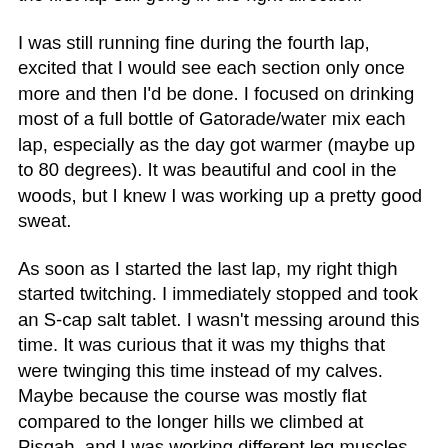the first lap still going in the right direction.
I was still running fine during the fourth lap, excited that I would see each section only once more and then I'd be done. I focused on drinking most of a full bottle of Gatorade/water mix each lap, especially as the day got warmer (maybe up to 80 degrees). It was beautiful and cool in the woods, but I knew I was working up a pretty good sweat.
As soon as I started the last lap, my right thigh started twitching. I immediately stopped and took an S-cap salt tablet. I wasn't messing around this time. It was curious that it was my thighs that were twinging this time instead of my calves. Maybe because the course was mostly flat compared to the longer hills we climbed at Pisgah, and I was working different leg muscles harder.
I still had to take it easy on the short (sometimes a bit steep) uphills to keep my legs from cramping. I did some deep breathing and tried to relax. I was happy that I could still run but disappointed that I have not yet figured out the cramping